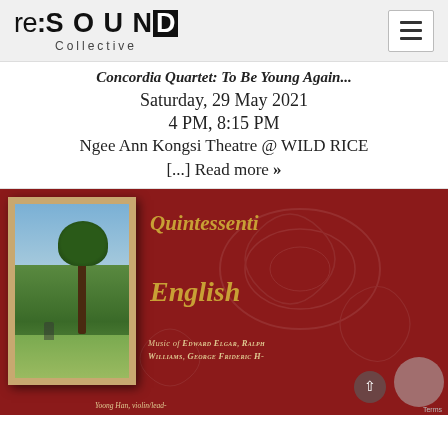re:SOUND Collective
Concordia Quartet: To Be Young Again...
Saturday, 29 May 2021
4 PM, 8:15 PM
Ngee Ann Kongsi Theatre @ WILD RICE
[...] Read more »
[Figure (illustration): Red background album/event artwork showing 'Quintessential English' text in gold italic font on dark red background with swirl patterns, a framed landscape painting on the left, and text 'Music of Edward Elgar, Ralph Williams, George Frideric H...' with 'Yoong Han, violin/leader' at bottom.]